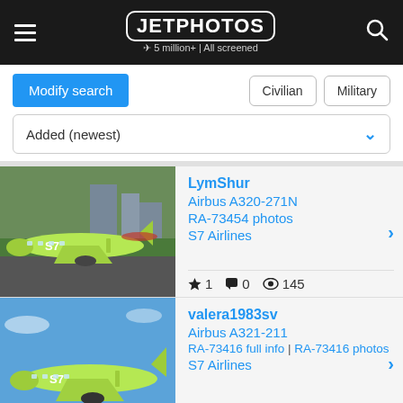JETPHOTOS — 5 million+ | All screened
Modify search   Civilian   Military
Added (newest)
[Figure (photo): Green S7 Airlines Airbus A320-271N on taxiway at airport]
LymShur
Airbus A320-271N
RA-73454 photos
S7 Airlines
★ 1  🗩 0  👁 145
[Figure (photo): Green S7 Airlines Airbus A321-211 in flight against blue sky]
valera1983sv
Airbus A321-211
RA-73416 full info | RA-73416 photos
S7 Airlines